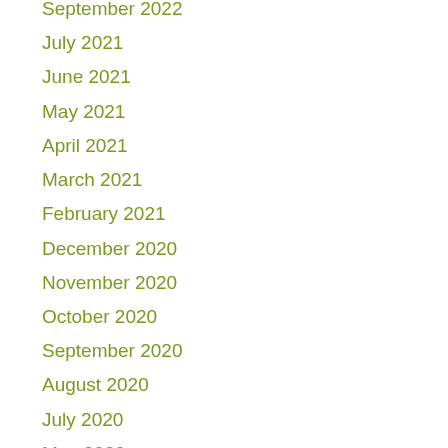September 2022
July 2021
June 2021
May 2021
April 2021
March 2021
February 2021
December 2020
November 2020
October 2020
September 2020
August 2020
July 2020
May 2020
April 2020
March 2020
January 2020
December 2019
November 2019
October 2019
September 2019